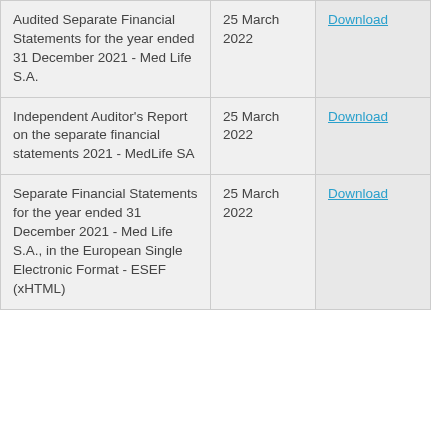| Document | Date | Link |
| --- | --- | --- |
| Audited Separate Financial Statements for the year ended 31 December 2021 - Med Life S.A. | 25 March 2022 | Download |
| Independent Auditor's Report on the separate financial statements 2021 - MedLife SA | 25 March 2022 | Download |
| Separate Financial Statements for the year ended 31 December 2021 - Med Life S.A., in the European Single Electronic Format - ESEF (xHTML) | 25 March 2022 | Download |